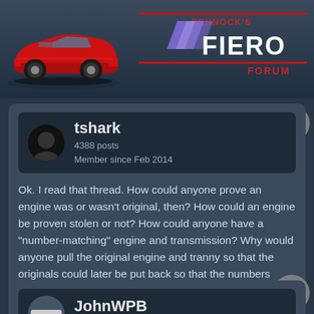[Figure (screenshot): Pennock's Fiero Forum header banner with red Pontiac Fiero car on left and purple chevron logo with 'PENNOCK'S FIERO FORUM' text in red and white on right]
tshark
4388 posts
Member since Feb 2014
Ok. I read that thread. How could anyone prove an engine was or wasn't original, then? How could an engine be proven stolen or not? How could anyone have a "number-matching" engine and transmission? Why would anyone pull the original engine and tranny so that the originals could later be put back so that the numbers matched?

I'm pretty sure I've seen the VIN in the block, but that was older engines...'70s-'80s.
11:27 AM
JohnWPB
5179 posts